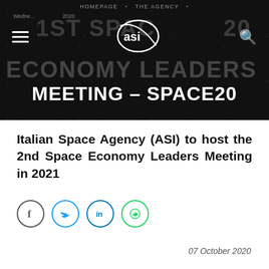[Figure (screenshot): ASI website header banner with dark background, hamburger menu, ASI logo, navigation links (HOMEPAGE, THE AGENCY), watermark text '1ST SPACE…20' and 'ECONOMY LEADERS', large white bold text 'MEETING – SPACE20', and a search icon.]
Italian Space Agency (ASI) to host the 2nd Space Economy Leaders Meeting in 2021
[Figure (infographic): Social sharing icons row: Facebook (circle, grey border), Twitter (circle, blue border), LinkedIn (circle, blue border), WhatsApp (circle, green border).]
07 October 2020